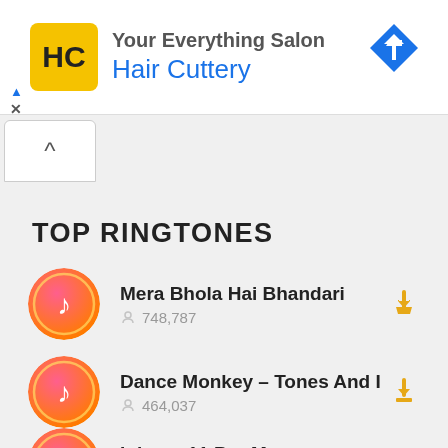[Figure (screenshot): Hair Cuttery advertisement banner with yellow HC logo and blue navigation arrow icon]
[Figure (other): Collapse/hide button with upward arrow]
TOP RINGTONES
Mera Bhola Hai Bhandari — 748,787 plays
Dance Monkey – Tones And I — 464,037 plays
Iphone 11 Pro Max — 550,289 plays